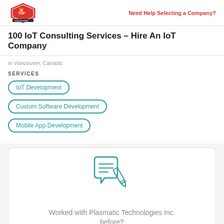Top Design Firms | Need Help Selecting a Company?
100 IoT Consulting Services – Hire An IoT Company
in Vancouver, Canada.
SERVICES
IoT Development
Custom Software Development
Mobile App Development
[Figure (illustration): Speech bubble with pencil/writing icon in teal outline style]
Worked with Plasmatic Technologies Inc. before?